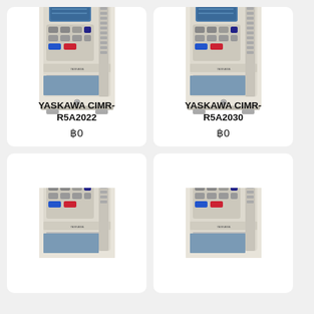[Figure (photo): Yaskawa CIMR-R5A2022 variable frequency drive unit, cream/white colored industrial inverter with blue display panel, keypad, and ventilation grilles]
YASKAWA CIMR-R5A2022
฿0
[Figure (photo): Yaskawa CIMR-R5A2030 variable frequency drive unit, cream/white colored industrial inverter with blue display panel, keypad, and ventilation grilles]
YASKAWA CIMR-R5A2030
฿0
[Figure (photo): Yaskawa variable frequency drive unit (partial view, bottom card left), cream/white and blue industrial inverter]
[Figure (photo): Yaskawa variable frequency drive unit (partial view, bottom card right), cream/white and blue industrial inverter]